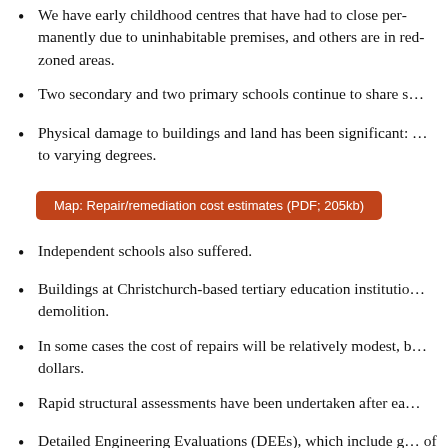We have early childhood centres that have had to close permanently due to uninhabitable premises, and others are in red-zoned areas.
Two secondary and two primary schools continue to share s...
Physical damage to buildings and land has been significant... to varying degrees.
[Figure (other): Orange button link: Map: Repair/remediation cost estimates (PDF; 205kb)]
Independent schools also suffered.
Buildings at Christchurch-based tertiary education institutions... demolition.
In some cases the cost of repairs will be relatively modest, b... dollars.
Rapid structural assessments have been undertaken after ea...
Detailed Engineering Evaluations (DEEs), which include g... of them – to assess their ability to withstand future events.